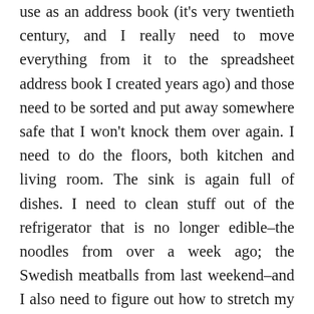shady). I knocked on the sort of index cards I use as an address book (it's very twentieth century, and I really need to move everything from it to the spreadsheet address book I created years ago) and those need to be sorted and put away somewhere safe that I won't knock them over again. I need to do the floors, both kitchen and living room. The sink is again full of dishes. I need to clean stuff out of the refrigerator that is no longer edible–the noodles from over a week ago; the Swedish meatballs from last weekend–and I also need to figure out how to stretch my upcoming paycheck to last another two weeks.